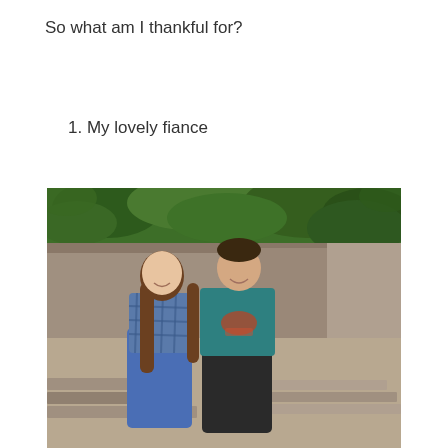So what am I thankful for?
1. My lovely fiance
[Figure (photo): A young couple sitting on stone steps outdoors. The woman on the left has long brown hair and is wearing a blue plaid shirt and blue jeans. The man on the right is wearing a teal graphic t-shirt and dark pants. They are sitting close together, smiling. Behind them is a rocky wall with green foliage/trees.]